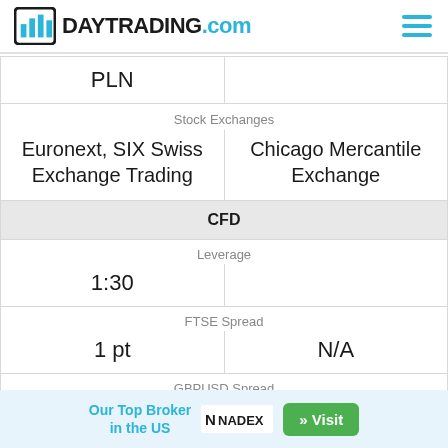DAYTRADING.com
| Col1 | Col2 |
| --- | --- |
| PLN |  |
| Stock Exchanges | Stock Exchanges |
| Euronext, SIX Swiss Exchange Trading | Chicago Mercantile Exchange |
| CFD | CFD |
| Leverage | Leverage |
| 1:30 |  |
| FTSE Spread | FTSE Spread |
| 1 pt | N/A |
| GBPUSD Spread | GBPUSD Spread |
| 1.7 pip | N/A |
| Oil Spread | Oil Spread |
Our Top Broker in the US — NADEX » Visit